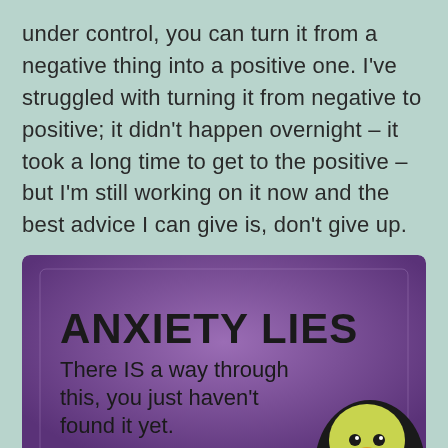under control, you can turn it from a negative thing into a positive one. I've struggled with turning it from negative to positive; it didn't happen overnight – it took a long time to get to the positive – but I'm still working on it now and the best advice I can give is, don't give up.
[Figure (illustration): Purple background illustration with text 'ANXIETY LIES' in large bold black letters, followed by handwritten-style text 'There IS a way through this, you just haven't found it yet.' with a cartoon character (bird/penguin-like creature with yellow-green face) visible at the bottom right.]